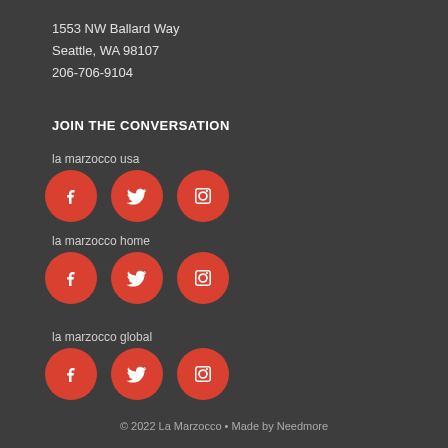1553 NW Ballard Way
Seattle, WA 98107
206-706-9104
JOIN THE CONVERSATION
la marzocco usa
[Figure (infographic): Three red circular social media icons: Facebook, Twitter, Instagram — for la marzocco usa]
la marzocco home
[Figure (infographic): Three red circular social media icons: Facebook, Twitter, Instagram — for la marzocco home]
la marzocco global
[Figure (infographic): Three red circular social media icons: Facebook, Twitter, Instagram — for la marzocco global]
© 2022 La Marzocco • Made by Needmore